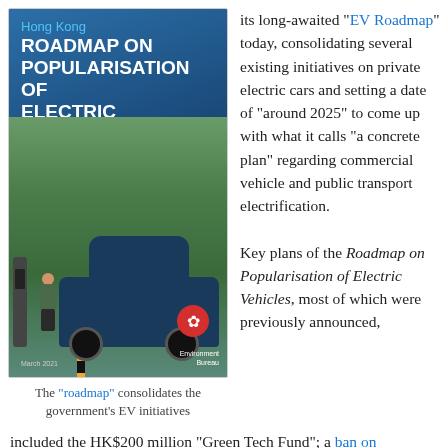[Figure (illustration): Book cover: Hong Kong Roadmap on Popularisation of Electric Vehicles, showing a woman charging an electric car at a charging station in a parking garage]
The "roadmap" consolidates the government's EV initiatives
its long-awaited "EV Roadmap" today, consolidating several existing initiatives on private electric cars and setting a date of "around 2025" to come up with what it calls "a concrete plan" regarding commercial vehicle and public transport electrification.
Key plans of the Roadmap on Popularisation of Electric Vehicles, most of which were previously announced, include the HK$200 million "Green Tech Fund"; a ban on registration of fuel-propelled private cars by 2035; trials for commercial electric vehicles (EVs), continuing the on-going work of the 2011 Pilot Green Transport Fund/New Energy Transport Fund; the $2 billion EV-charging at Home